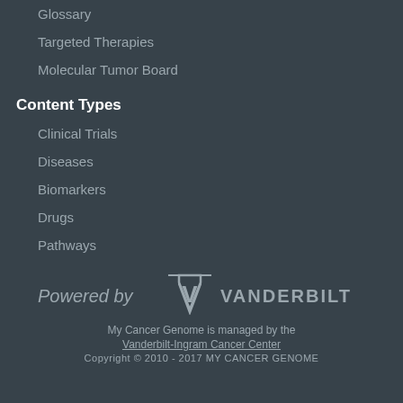Glossary
Targeted Therapies
Molecular Tumor Board
Content Types
Clinical Trials
Diseases
Biomarkers
Drugs
Pathways
[Figure (logo): Powered by Vanderbilt logo]
My Cancer Genome is managed by the
Vanderbilt-Ingram Cancer Center
Copyright © 2010 - 2017 MY CANCER GENOME